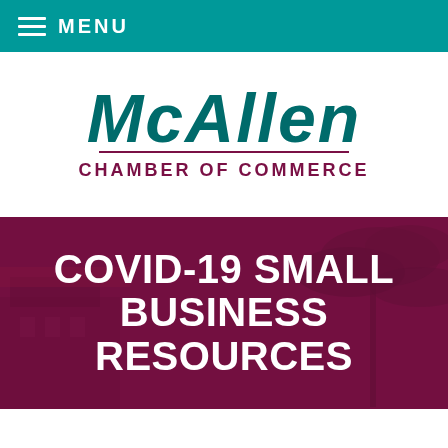MENU
[Figure (logo): McAllen Chamber of Commerce logo with stylized teal and maroon lettering]
COVID-19 SMALL BUSINESS RESOURCES
The McAllen Chamber of Commerce is seeking to help employers